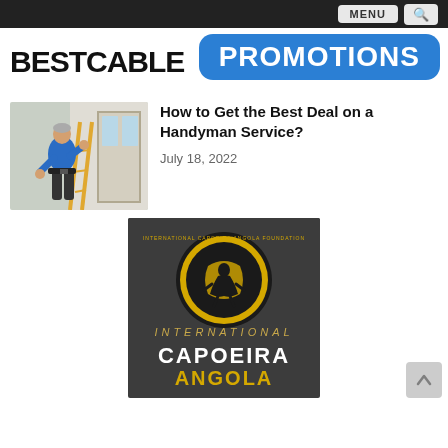MENU  🔍
[Figure (logo): BESTCABLE logo text in bold black font, partially overlapped by blue PROMOTIONS badge]
How to Get the Best Deal on a Handyman Service?
July 18, 2022
[Figure (photo): Photo of a man in blue shirt doing handyman work near a door/window]
[Figure (illustration): International Capoeira Angola Foundation card with dark background, yellow circular emblem, and text INTERNATIONAL CAPOEIRA ANGOLA]